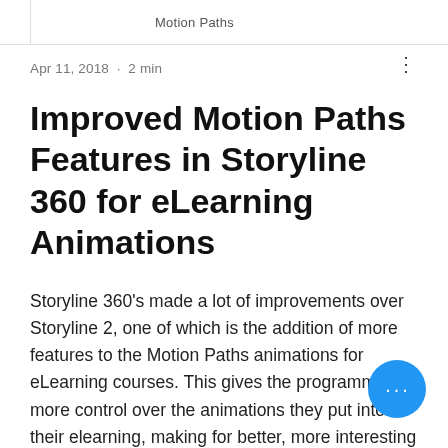Motion Paths
Apr 11, 2018 · 2 min
Improved Motion Paths Features in Storyline 360 for eLearning Animations
Storyline 360's made a lot of improvements over Storyline 2, one of which is the addition of more features to the Motion Paths animations for eLearning courses. This gives the programmer more control over the animations they put into their elearning, making for better, more interesting content. The first is simply the option to rename your paths, making it easier to keep track of which object you're mo… at a given time in your trigger panel. This